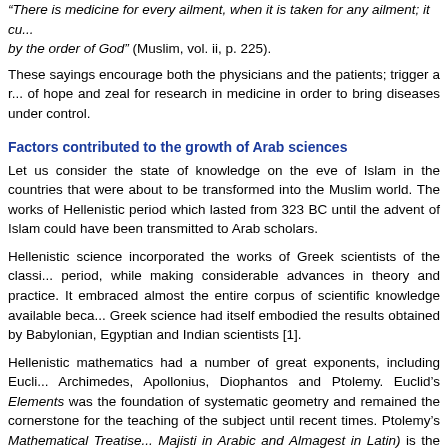“There is medicine for every ailment, when it is taken for any ailment; it cu... by the order of God” (Muslim, vol. ii, p. 225).
These sayings encourage both the physicians and the patients; trigger a r... of hope and zeal for research in medicine in order to bring diseases under control.
Factors contributed to the growth of Arab sciences
Let us consider the state of knowledge on the eve of Islam in the countries that were about to be transformed into the Muslim world. The works of Hellenistic period which lasted from 323 BC until the advent of Islam could have been transmitted to Arab scholars.
Hellenistic science incorporated the works of Greek scientists of the classi... period, while making considerable advances in theory and practice. It embraced almost the entire corpus of scientific knowledge available beca... Greek science had itself embodied the results obtained by Babylonian, Egyptian and Indian scientists [1].
Hellenistic mathematics had a number of great exponents, including Eucli... Archimedes, Apollonius, Diophantos and Ptolemy. Euclid’s Elements was the foundation of systematic geometry and remained the cornerstone for the teaching of the subject until recent times. Ptolemy’s Mathematical Treatise... Majisti in Arabic and Almagest in Latin) is the most complex account of geocentric system, which places the earth at the centre of universe.
The Arab scholars inherited the Hellenistic Sciences and they would have been certainly benefited out of this treasure. The teachings of Prophet an... passion and egalitarianism of Islam further rejuvenated them and infact it became a positive force in all the developments in the Arab world. The va...